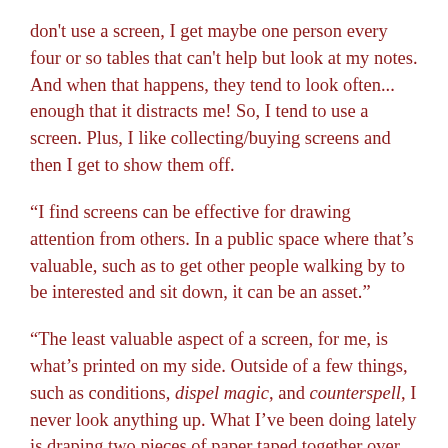don't use a screen, I get maybe one person every four or so tables that can't help but look at my notes. And when that happens, they tend to look often... enough that it distracts me! So, I tend to use a screen. Plus, I like collecting/buying screens and then I get to show them off.
“I find screens can be effective for drawing attention from others. In a public space where that’s valuable, such as to get other people walking by to be interested and sit down, it can be an asset.”
“The least valuable aspect of a screen, for me, is what’s printed on my side. Outside of a few things, such as conditions, dispel magic, and counterspell, I never look anything up. What I’ve been doing lately is draping two pieces of paper taped together over one part of my screen. Facing the players is a map of the general area of the world. Facing me is a list of the character names and info I want for help with roleplay: race, background, class/subclass, etc. I add a